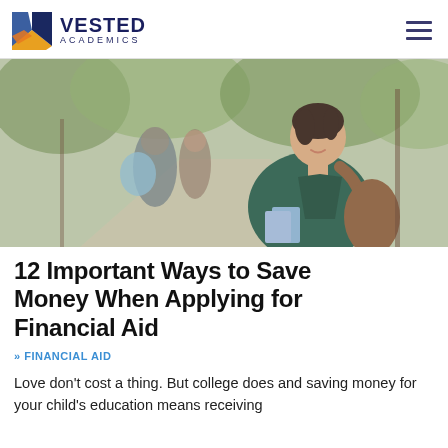VESTED ACADEMICS
[Figure (photo): A smiling young woman in a dark green jacket carrying books and a backpack on a college campus walkway, with other students blurred in the background among autumn trees.]
12 Important Ways to Save Money When Applying for Financial Aid
» FINANCIAL AID
Love don't cost a thing. But college does and saving money for your child's education means receiving the financial aid they...